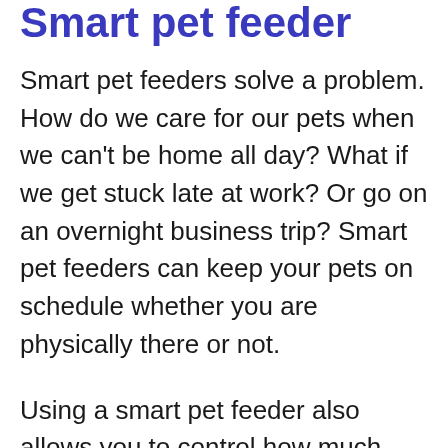Smart pet feeder
Smart pet feeders solve a problem. How do we care for our pets when we can't be home all day? What if we get stuck late at work? Or go on an overnight business trip? Smart pet feeders can keep your pets on schedule whether you are physically there or not.
Using a smart pet feeder also allows you to control how much food your pet eats. If your dog tends to eat all of